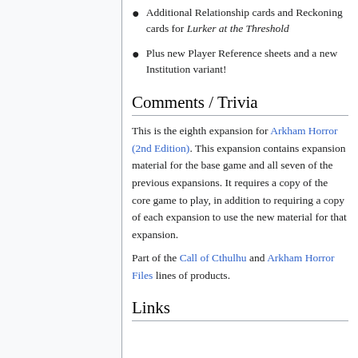Additional Relationship cards and Reckoning cards for Lurker at the Threshold
Plus new Player Reference sheets and a new Institution variant!
Comments / Trivia
This is the eighth expansion for Arkham Horror (2nd Edition). This expansion contains expansion material for the base game and all seven of the previous expansions. It requires a copy of the core game to play, in addition to requiring a copy of each expansion to use the new material for that expansion.
Part of the Call of Cthulhu and Arkham Horror Files lines of products.
Links